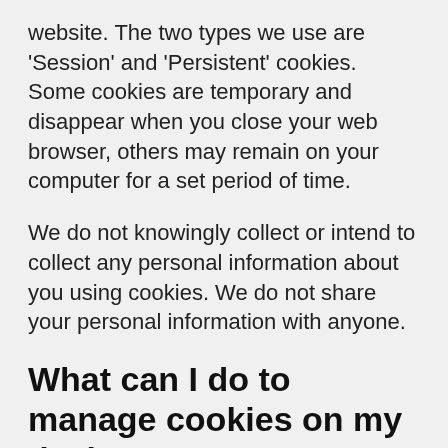website. The two types we use are 'Session' and 'Persistent' cookies. Some cookies are temporary and disappear when you close your web browser, others may remain on your computer for a set period of time.
We do not knowingly collect or intend to collect any personal information about you using cookies. We do not share your personal information with anyone.
What can I do to manage cookies on my devices?